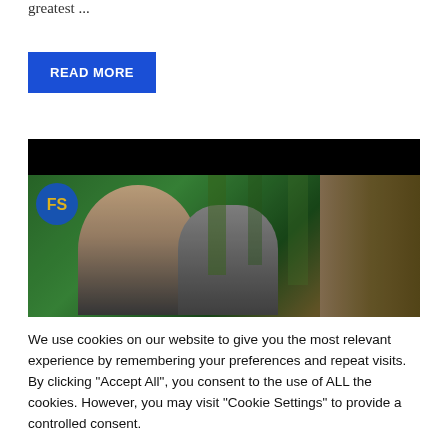greatest ...
READ MORE
[Figure (photo): A screenshot/thumbnail from a video player showing a dark header bar, with a forest scene below featuring a person with dark hair, a grey creature, and a wooden structure on the right. A circular logo with 'FS' letters appears in the upper left of the image area.]
We use cookies on our website to give you the most relevant experience by remembering your preferences and repeat visits. By clicking "Accept All", you consent to the use of ALL the cookies. However, you may visit "Cookie Settings" to provide a controlled consent.
Cookie Settings
Accept All